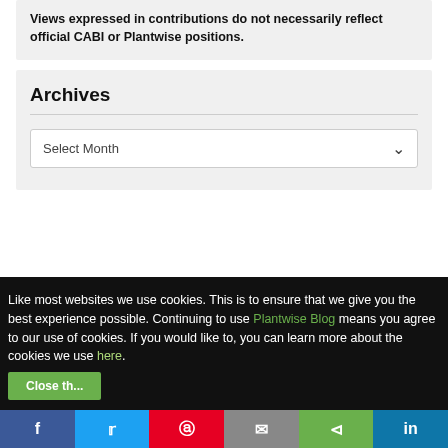Views expressed in contributions do not necessarily reflect official CABI or Plantwise positions.
Archives
Select Month
Like most websites we use cookies. This is to ensure that we give you the best experience possible. Continuing to use Plantwise Blog means you agree to our use of cookies. If you would like to, you can learn more about the cookies we use here.
Close this bar